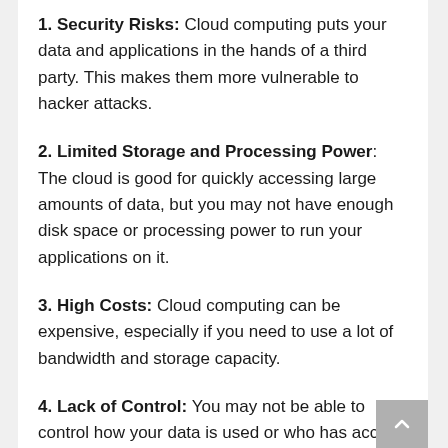1. Security Risks: Cloud computing puts your data and applications in the hands of a third party. This makes them more vulnerable to hacker attacks.
2. Limited Storage and Processing Power: The cloud is good for quickly accessing large amounts of data, but you may not have enough disk space or processing power to run your applications on it.
3. High Costs: Cloud computing can be expensive, especially if you need to use a lot of bandwidth and storage capacity.
4. Lack of Control: You may not be able to control how your data is used or who has access to it.